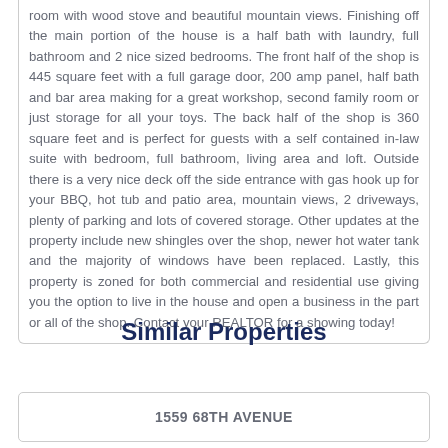room with wood stove and beautiful mountain views. Finishing off the main portion of the house is a half bath with laundry, full bathroom and 2 nice sized bedrooms. The front half of the shop is 445 square feet with a full garage door, 200 amp panel, half bath and bar area making for a great workshop, second family room or just storage for all your toys. The back half of the shop is 360 square feet and is perfect for guests with a self contained in-law suite with bedroom, full bathroom, living area and loft. Outside there is a very nice deck off the side entrance with gas hook up for your BBQ, hot tub and patio area, mountain views, 2 driveways, plenty of parking and lots of covered storage. Other updates at the property include new shingles over the shop, newer hot water tank and the majority of windows have been replaced. Lastly, this property is zoned for both commercial and residential use giving you the option to live in the house and open a business in the part or all of the shop. Contact your REALTOR for a showing today!
Similar Properties
1559 68TH AVENUE